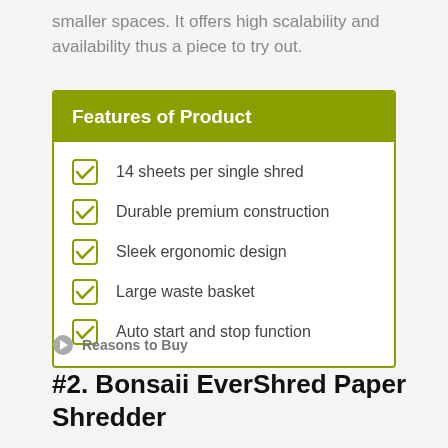smaller spaces. It offers high scalability and availability thus a piece to try out.
Features of Product
14 sheets per single shred
Durable premium construction
Sleek ergonomic design
Large waste basket
Auto start and stop function
Reasons to Buy
#2. Bonsaii EverShred Paper Shredder